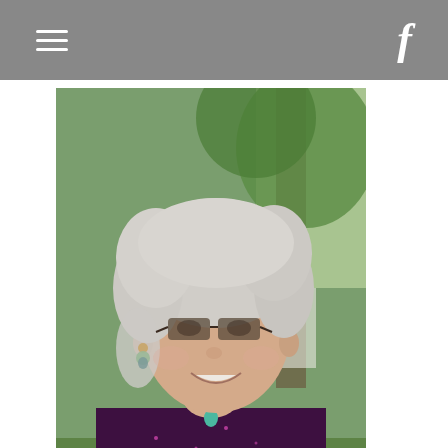≡  f
[Figure (photo): Portrait photo of Charlene Bertha Brown, an elderly woman with white/gray hair, wearing dark-tinted glasses, dangling earrings, a necklace with a teal pendant, and a dark purple sparkly top. She is smiling, photographed outdoors with trees visible in the background.]
Charlene Bertha Brown
Charlene Bertha Brown 69 of Amarillo went to be with